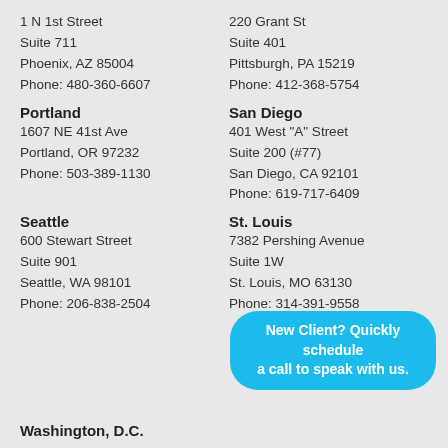1 N 1st Street
Suite 711
Phoenix, AZ 85004
Phone: 480-360-6607
220 Grant St
Suite 401
Pittsburgh, PA 15219
Phone: 412-368-5754
Portland
1607 NE 41st Ave
Portland, OR 97232
Phone: 503-389-1130
San Diego
401 West "A" Street
Suite 200 (#77)
San Diego, CA 92101
Phone: 619-717-6409
Seattle
600 Stewart Street
Suite 901
Seattle, WA 98101
Phone: 206-838-2504
St. Louis
7382 Pershing Avenue
Suite 1W
St. Louis, MO 63130
Phone: 314-391-9558
New Client? Quickly schedule a call to speak with us.
Washington, D.C.